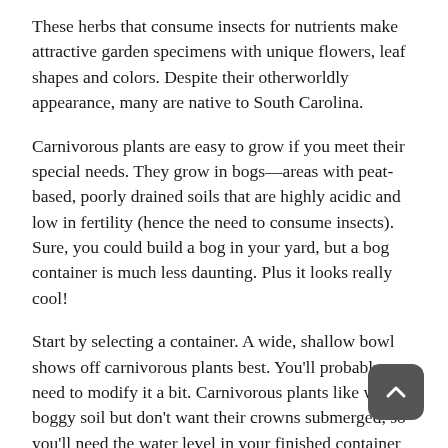These herbs that consume insects for nutrients make attractive garden specimens with unique flowers, leaf shapes and colors. Despite their otherworldly appearance, many are native to South Carolina.
Carnivorous plants are easy to grow if you meet their special needs. They grow in bogs—areas with peat-based, poorly drained soils that are highly acidic and low in fertility (hence the need to consume insects). Sure, you could build a bog in your yard, but a bog container is much less daunting. Plus it looks really cool!
Start by selecting a container. A wide, shallow bowl shows off carnivorous plants best. You'll probably need to modify it a bit. Carnivorous plants like wet, boggy soil but don't want their crowns submerged, so you'll need the water level in your finished container to be a couple of inches below the top of the soil.
The simplest way to prep your container is to line it with a